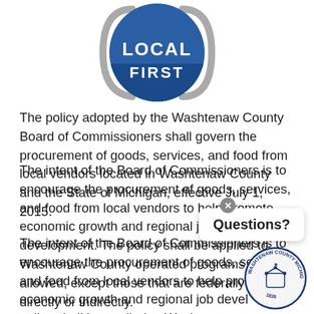[Figure (logo): Local First logo with circular arrows, blue shield shape, text LOCAL FIRST]
The policy adopted by the Washtenaw County Board of Commissioners shall govern the procurement of goods, services, and food from local vendors located in Washtenaw County and the State of Michigan, effective July 1, 2015.
The intent of the Board of Commissioners is to encourage the procurement of goods, services, and food from local vendors to help promote economic growth and regional job development. The policy shall be applied to Washtenaw County operated programs as allowed, except those that are federally funded directly or indirectly.
[Figure (logo): Washtenaw County Michigan seal, circular, 1826]